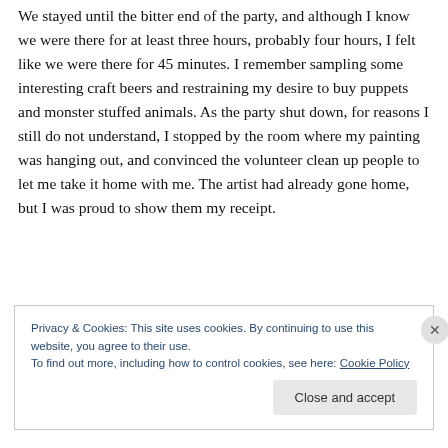We stayed until the bitter end of the party, and although I know we were there for at least three hours, probably four hours, I felt like we were there for 45 minutes. I remember sampling some interesting craft beers and restraining my desire to buy puppets and monster stuffed animals. As the party shut down, for reasons I still do not understand, I stopped by the room where my painting was hanging out, and convinced the volunteer clean up people to let me take it home with me. The artist had already gone home, but I was proud to show them my receipt.
Privacy & Cookies: This site uses cookies. By continuing to use this website, you agree to their use.
To find out more, including how to control cookies, see here: Cookie Policy